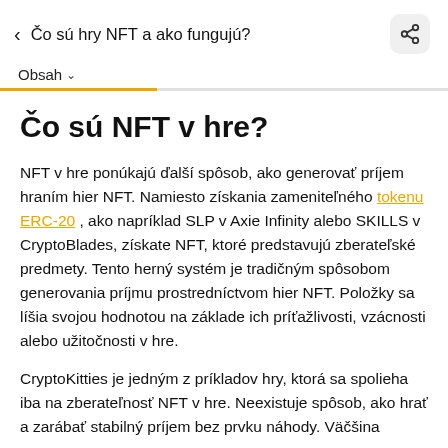< Čo sú hry NFT a ako fungujú?
Obsah ▾
Čo sú NFT v hre?
NFT v hre ponúkajú ďalší spôsob, ako generovať príjem hraním hier NFT. Namiesto získania zameniteľného tokenu ERC-20 , ako napríklad SLP v Axie Infinity alebo SKILLS v CryptoBlades, získate NFT, ktoré predstavujú zberateľské predmety. Tento herný systém je tradičným spôsobom generovania príjmu prostredníctvom hier NFT. Položky sa líšia svojou hodnotou na základe ich príťažlivosti, vzácnosti alebo užitočnosti v hre.
CryptoKitties je jedným z príkladov hry, ktorá sa spolieha iba na zberateľnosť NFT v hre. Neexistuje spôsob, ako hrať a zarábať stabilný príjem bez prvku náhody. Väčšina